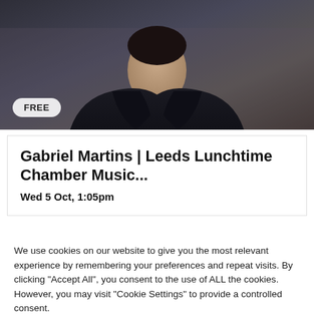[Figure (photo): Portrait photo of Gabriel Martins wearing a dark jacket over a white shirt, with a FREE badge in the bottom left corner]
Gabriel Martins | Leeds Lunchtime Chamber Music...
Wed 5 Oct, 1:05pm
We use cookies on our website to give you the most relevant experience by remembering your preferences and repeat visits. By clicking "Accept All", you consent to the use of ALL the cookies. However, you may visit "Cookie Settings" to provide a controlled consent.